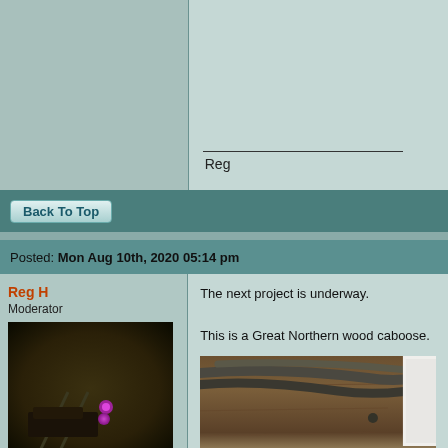Reg
Back To Top
Posted: Mon Aug 10th, 2020 05:14 pm
Reg H
Moderator
Joined: Sun Oct 19th, 2014
Location: Shelton, USA
Posts: 1113
Status: Offline
The next project is underway.

This is a Great Northern wood caboose.
[Figure (photo): Photo of a wooden surface with cables/cords and electronic devices visible, including a white device at top right and a dark/black device at bottom right]